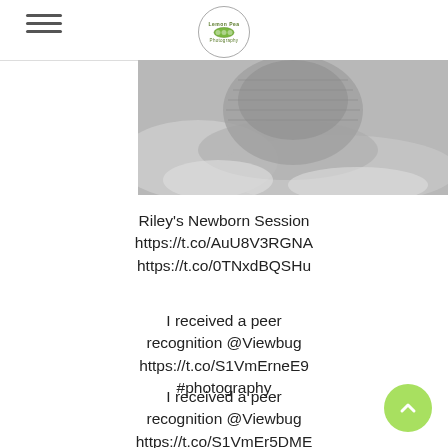[Figure (logo): Lemon Pea Photography circular logo with green pea pod illustration]
[Figure (photo): Black and white newborn photography image showing a baby wrapped in textured fabric on a fluffy surface]
Riley's Newborn Session https://t.co/AuU8V3RGNA https://t.co/0TNxdBQSHu
I received a peer recognition @Viewbug https://t.co/S1VmErneE9 #photography
I received a peer recognition @Viewbug https://t.co/S1VmEr5DME #photography